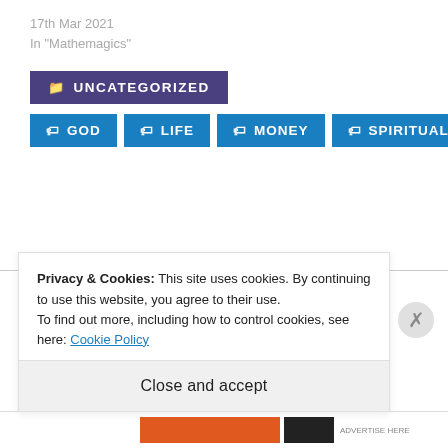17th Mar 2021
In "Mathemagics"
UNCATEGORIZED
GOD
LIFE
MONEY
SPIRITUALITY
[Figure (illustration): Partial illustration with cyan/teal outline drawing of a circular/cookie-like shape on white background]
Privacy & Cookies: This site uses cookies. By continuing to use this website, you agree to their use.
To find out more, including how to control cookies, see here: Cookie Policy
Close and accept